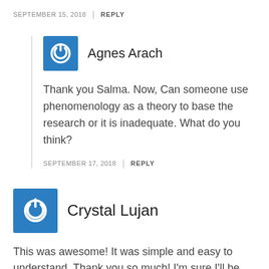SEPTEMBER 15, 2018 | REPLY
[Figure (illustration): Blue square avatar icon with white power/circle symbol for user Agnes Arach]
Agnes Arach
Thank you Salma. Now, Can someone use phenomenology as a theory to base the research or it is inadequate. What do you think?
SEPTEMBER 17, 2018 | REPLY
[Figure (illustration): Blue square avatar icon with white power/circle symbol for user Crystal Lujan]
Crystal Lujan
This was awesome! It was simple and easy to understand. Thank you so much! I'm sure I'll be